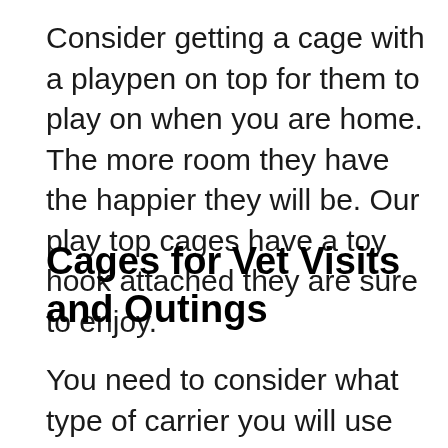Consider getting a cage with a playpen on top for them to play on when you are home. The more room they have the happier they will be. Our play top cages have a toy hook attached they are sure to enjoy.
Cages for Vet Visits and Outings
You need to consider what type of carrier you will use for transporting your Eclectus Parrot in. You never know if you might